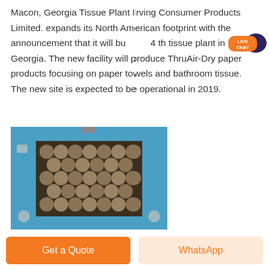Macon, Georgia Tissue Plant Irving Consumer Products Limited. expands its North American footprint with the announcement that it will build its 4 th tissue plant in Macon, Georgia. The new facility will produce ThruAir-Dry paper products focusing on paper towels and bathroom tissue. The new site is expected to be operational in 2019.
[Figure (photo): Industrial machinery inside a blue metal housing, showing cylindrical paper roll cores or tissue rolls stacked inside the machine compartment.]